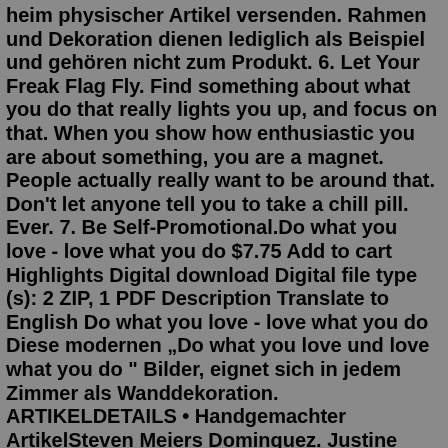heim physischer Artikel versenden. Rahmen und Dekoration dienen lediglich als Beispiel und gehören nicht zum Produkt. 6. Let Your Freak Flag Fly. Find something about what you do that really lights you up, and focus on that. When you show how enthusiastic you are about something, you are a magnet. People actually really want to be around that. Don't let anyone tell you to take a chill pill. Ever. 7. Be Self-Promotional.Do what you love - love what you do $7.75 Add to cart Highlights Digital download Digital file type (s): 2 ZIP, 1 PDF Description Translate to English Do what you love - love what you do Diese modernen „Do what you love und love what you do " Bilder, eignet sich in jedem Zimmer als Wanddekoration. ARTIKELDETAILS • Handgemachter ArtikelSteven Meiers Dominguez. Justine Bateman's skin-care and makeup routine is pretty simple: moisturizer and black eyeliner. And yet, even during a time when most women are simplifying their daily ...Buy Books Online at BN.com, America's Favorite Bookstore. No matter